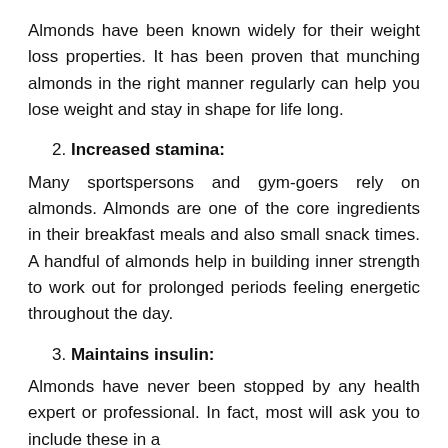Almonds have been known widely for their weight loss properties. It has been proven that munching almonds in the right manner regularly can help you lose weight and stay in shape for life long.
2. Increased stamina:
Many sportspersons and gym-goers rely on almonds. Almonds are one of the core ingredients in their breakfast meals and also small snack times. A handful of almonds help in building inner strength to work out for prolonged periods feeling energetic throughout the day.
3. Maintains insulin:
Almonds have never been stopped by any health expert or professional. In fact, most will ask you to include these in a